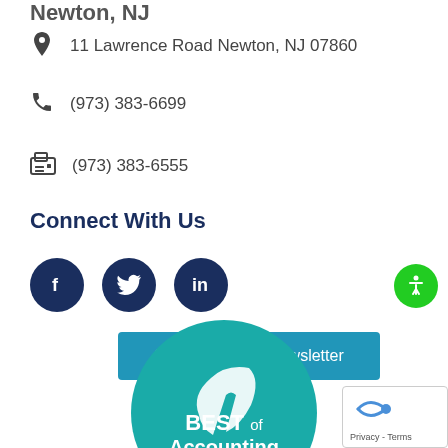Newton, NJ
11 Lawrence Road Newton, NJ 07860
(973) 383-6699
(973) 383-6555
Connect With Us
[Figure (illustration): Facebook, Twitter, and LinkedIn social media icons as dark navy circular buttons]
Signup For Our Newsletter
[Figure (logo): Best of Accounting - Client Satisfaction badge/seal in teal green circle with white text and feather logo]